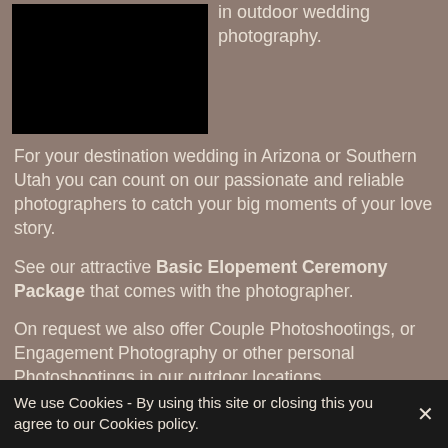[Figure (photo): Black rectangular photo block, partially visible wedding/outdoor photography image]
We specialize in outdoor wedding photography.
For your destination wedding in Arizona or Southern Utah you can count on our passionate and reliable photographers to catch your big moments of your love story.
See our attractive Basic Elopement Ceremony Package that comes with the photographer.
On request we also offer Couple Photoshootings, or Engagement Photography or other personal Photoshootings in our outdoor locations.
PHOTOGRAPHY
We use Cookies - By using this site or closing this you agree to our Cookies policy.